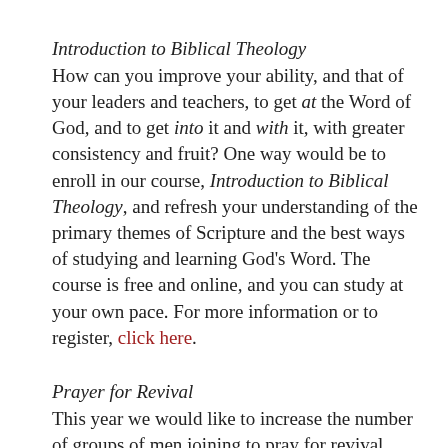Introduction to Biblical Theology
How can you improve your ability, and that of your leaders and teachers, to get at the Word of God, and to get into it and with it, with greater consistency and fruit? One way would be to enroll in our course, Introduction to Biblical Theology, and refresh your understanding of the primary themes of Scripture and the best ways of studying and learning God's Word. The course is free and online, and you can study at your own pace. For more information or to register, click here.
Prayer for Revival
This year we would like to increase the number of groups of men joining to pray for revival. Four groups are currently